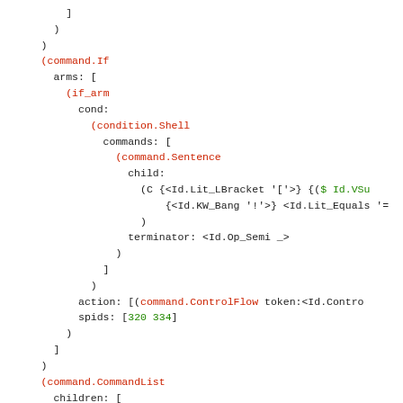Code/AST dump showing command.If, condition.Shell, command.Sentence, command.CommandList, command.ShAssignment, assign_pair structures with syntax tree node details